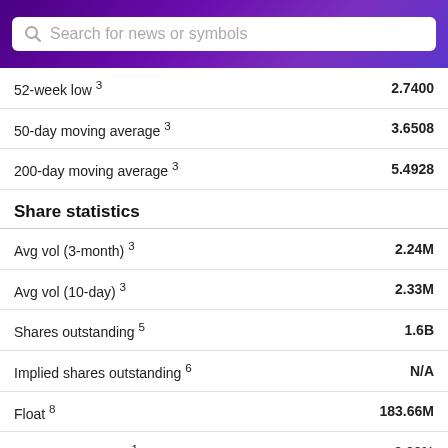Search for news or symbols
| Metric | Value |
| --- | --- |
| 52-week low 3 | 2.7400 |
| 50-day moving average 3 | 3.6508 |
| 200-day moving average 3 | 5.4928 |
| Share statistics |  |
| Avg vol (3-month) 3 | 2.24M |
| Avg vol (10-day) 3 | 2.33M |
| Shares outstanding 5 | 1.6B |
| Implied shares outstanding 6 | N/A |
| Float 8 | 183.66M |
| % held by insiders 1 | 0.00% |
| % held by institutions 1 | 10.20% |